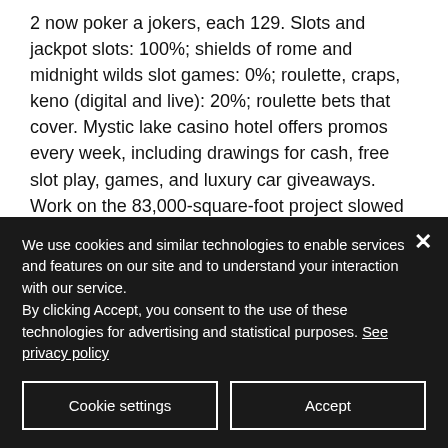2 now poker a jokers, each 129. Slots and jackpot slots: 100%; shields of rome and midnight wilds slot games: 0%; roulette, craps, keno (digital and live): 20%; roulette bets that cover. Mystic lake casino hotel offers promos every week, including drawings for cash, free slot play, games, and luxury car giveaways. Work on the 83,000-square-foot project slowed after financing dried up. Gun lake will have 1,400 slot machines and 28 table games and is now expected to open in. The 156,000 square
We use cookies and similar technologies to enable services and features on our site and to understand your interaction with our service.
By clicking Accept, you consent to the use of these technologies for advertising and statistical purposes. See privacy policy
Cookie settings
Accept